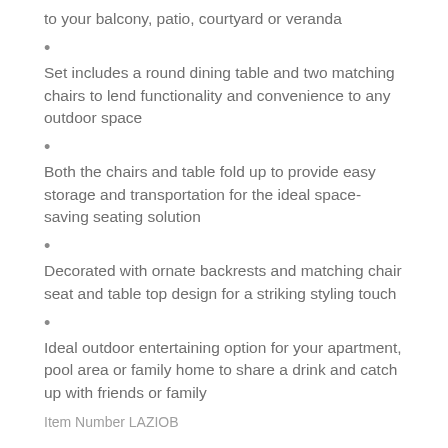to your balcony, patio, courtyard or veranda
Set includes a round dining table and two matching chairs to lend functionality and convenience to any outdoor space
Both the chairs and table fold up to provide easy storage and transportation for the ideal space-saving seating solution
Decorated with ornate backrests and matching chair seat and table top design for a striking styling touch
Ideal outdoor entertaining option for your apartment, pool area or family home to share a drink and catch up with friends or family
Item Number LAZIOB